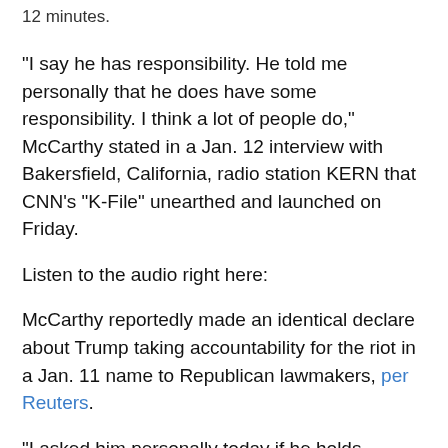12 minutes.
“I say he has responsibility. He told me personally that he does have some responsibility. I think a lot of people do,” McCarthy stated in a Jan. 12 interview with Bakersfield, California, radio station KERN that CNN’s “K-File” unearthed and launched on Friday.
Listen to the audio right here:
McCarthy reportedly made an identical declare about Trump taking accountability for the riot in a Jan. 11 name to Republican lawmakers, per Reuters.
“I asked him personally today if he holds responsibility for what happened, if he feels bad about what happened. He told me he does have some responsibility for what happened,” the highest House Republican reportedly stated, though he’s